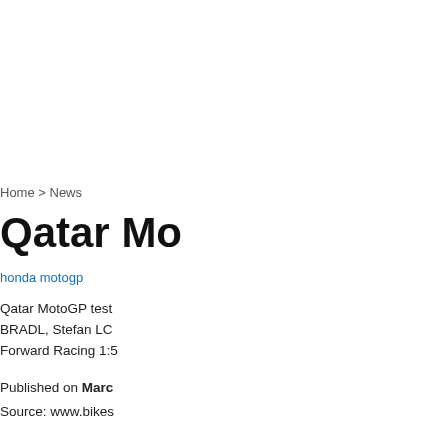Home > News
Qatar Mo
honda motogp
Qatar MotoGP test
BRADL, Stefan LC
Forward Racing 1:5
Published on Marc
Source: www.bikes